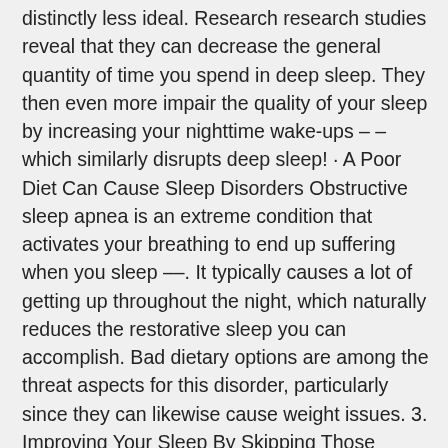distinctly less ideal. Research research studies reveal that they can decrease the general quantity of time you spend in deep sleep. They then even more impair the quality of your sleep by increasing your nighttime wake-ups – – which similarly disrupts deep sleep! · A Poor Diet Can Cause Sleep Disorders Obstructive sleep apnea is an extreme condition that activates your breathing to end up suffering when you sleep ––. It typically causes a lot of getting up throughout the night, which naturally reduces the restorative sleep you can accomplish. Bad dietary options are among the threat aspects for this disorder, particularly since they can likewise cause weight issues. 3. Improving Your Sleep By Skipping Those Unhealthy Food Choices Youve most likely figured out by now that poor sleep and unhealthy food choices can support each other in a terrible cycle. The poorer your sleep, the less healthily you eat. The less healthily you eat, the poorer you sleep. It can be a mess to be caught because spiral! Thats why you require to take thevery